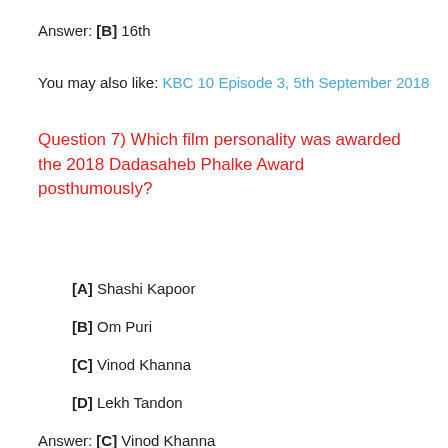Answer: [B] 16th
You may also like: KBC 10 Episode 3, 5th September 2018
Question 7) Which film personality was awarded the 2018 Dadasaheb Phalke Award posthumously?
[A] Shashi Kapoor
[B] Om Puri
[C] Vinod Khanna
[D] Lekh Tandon
Answer: [C] Vinod Khanna